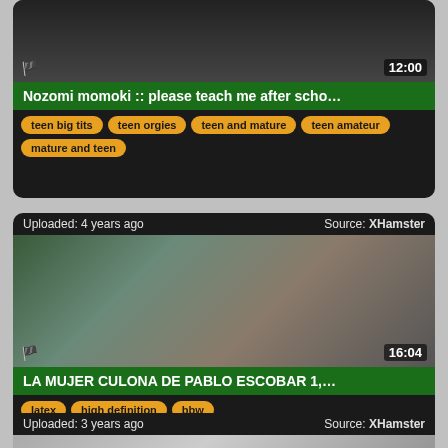[Figure (screenshot): Video thumbnail card 1: Nozomi momoki video with duration 12:00, tags: teen big tits, teen orgies, teen and mature, teen amateur, mature and teen]
[Figure (screenshot): Video thumbnail card 2: LA MUJER CULONA DE PABLO ESCOBAR 1,... uploaded 4 years ago, Source: XHamster, duration 16:04, tags: latex, high definition, bbw]
[Figure (screenshot): Video thumbnail card 3: uploaded 3 years ago, Source: XHamster, partial view]